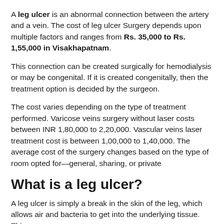A leg ulcer is an abnormal connection between the artery and a vein. The cost of leg ulcer Surgery depends upon multiple factors and ranges from Rs. 35,000 to Rs. 1,55,000 in Visakhapatnam.
This connection can be created surgically for hemodialysis or may be congenital. If it is created congenitally, then the treatment option is decided by the surgeon.
The cost varies depending on the type of treatment performed. Varicose veins surgery without laser costs between INR 1,80,000 to 2,20,000. Vascular veins laser treatment cost is between 1,00,000 to 1,40,000. The average cost of the surgery changes based on the type of room opted for—general, sharing, or private
What is a leg ulcer?
A leg ulcer is simply a break in the skin of the leg, which allows air and bacteria to get into the underlying tissue. This